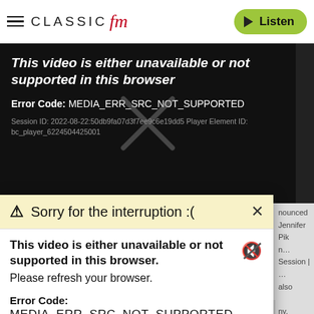[Figure (screenshot): Classic FM website header with hamburger menu, Classic FM logo, and green Listen button]
[Figure (screenshot): Video player error screen on black background showing 'This video is either unavailable or not supported in this browser' with Error Code: MEDIA_ERR_SRC_NOT_SUPPORTED and session ID details]
[Figure (screenshot): Browser popup overlay saying 'Sorry for the interruption :(' with video error details: 'This video is either unavailable or not supported in this browser. Please refresh your browser.' and Error Code: MEDIA ERR SRC NOT SUPPORTED]
after Lady Gaga sang the National Anthem